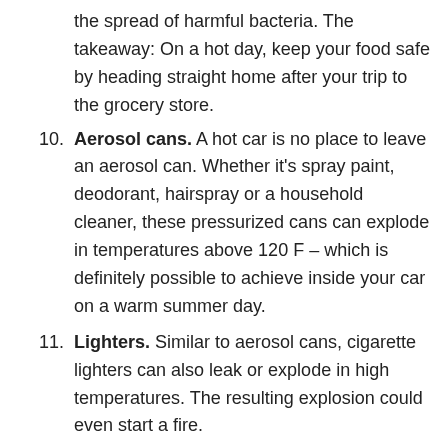the spread of harmful bacteria. The takeaway: On a hot day, keep your food safe by heading straight home after your trip to the grocery store.
10. Aerosol cans. A hot car is no place to leave an aerosol can. Whether it's spray paint, deodorant, hairspray or a household cleaner, these pressurized cans can explode in temperatures above 120 F – which is definitely possible to achieve inside your car on a warm summer day.
11. Lighters. Similar to aerosol cans, cigarette lighters can also leak or explode in high temperatures. The resulting explosion could even start a fire.
12. Plants. Leaving a plant inside your car for too long can lead to dehydration. And fluctuating temperatures can stress – or even kill – the hardiest houseplants.